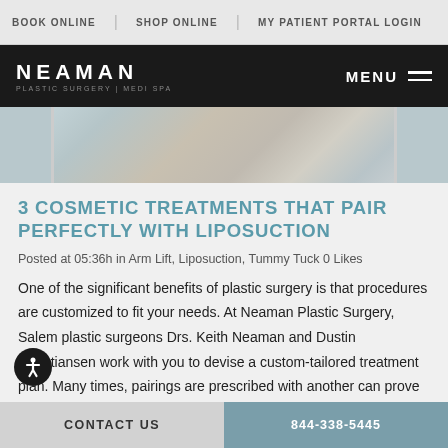BOOK ONLINE | SHOP ONLINE | MY PATIENT PORTAL LOGIN
NEAMAN PLASTIC SURGERY | MEDI SPA — MENU
[Figure (photo): Hero banner image showing a blurred outdoor scene with trees and blue-grey tones]
3 COSMETIC TREATMENTS THAT PAIR PERFECTLY WITH LIPOSUCTION
Posted at 05:36h in Arm Lift, Liposuction, Tummy Tuck 0 Likes
One of the significant benefits of plastic surgery is that procedures are customized to fit your needs. At Neaman Plastic Surgery, Salem plastic surgeons Drs. Keith Neaman and Dustin Christiansen work with you to devise a custom-tailored treatment plan. Many times, pairings are prescribed with another can prove
CONTACT US | 844-338-5445